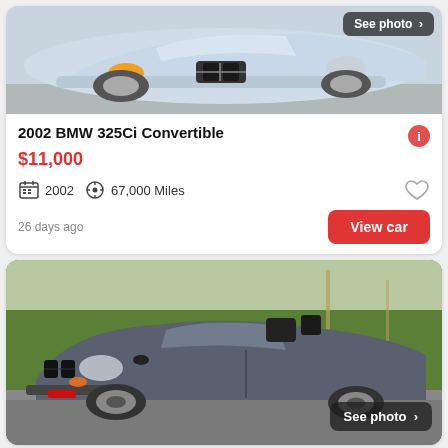[Figure (photo): Front view of a silver BMW 325Ci Convertible parked. A dark overlay button in top-right says 'See photo >']
2002 BMW 325Ci Convertible
$11,000
2002   67,000 Miles
26 days ago
View car
[Figure (photo): Side view of a dark gray BMW 325Ci Convertible with top down, parked on a road with trees in background. 'See photo >' button in bottom-right corner.]